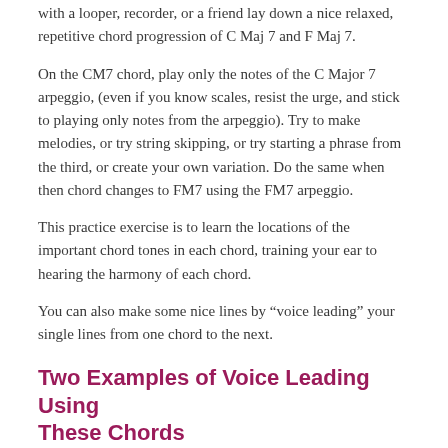with a looper, recorder, or a friend lay down a nice relaxed, repetitive chord progression of C Maj 7 and F Maj 7.
On the CM7 chord, play only the notes of the C Major 7 arpeggio, (even if you know scales, resist the urge, and stick to playing only notes from the arpeggio). Try to make melodies, or try string skipping, or try starting a phrase from the third, or create your own variation. Do the same when then chord changes to FM7 using the FM7 arpeggio.
This practice exercise is to learn the locations of the important chord tones in each chord, training your ear to hearing the harmony of each chord.
You can also make some nice lines by “voice leading” your single lines from one chord to the next.
Two Examples of Voice Leading Using These Chords
On the C chord, make your last note an E, and on the F chord play and F as your first note. On the F chord, make you last note a C, and on the C chord play B as your first note.
This is an example of half-step or semitone voice leading. You can